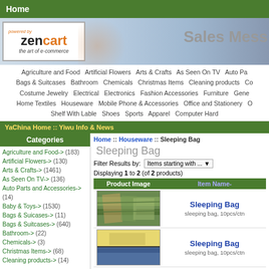Home
[Figure (logo): Zen Cart logo - powered by zencart, the art of e-commerce]
Sales Mess
Agriculture and Food  Artificial Flowers  Arts & Crafts  As Seen On TV  Auto Pa  Bags & Suitcases  Bathroom  Chemicals  Christmas Items  Cleaning products  Co  Costume Jewelry  Electrical  Electronics  Fashion Accessories  Furniture  Gene  Home Textiles  Houseware  Mobile Phone & Accessories  Office and Stationery  O  Shelf With Lable  Shoes  Sports  Apparel  Computer Hard
YaChina Home :: Yiwu Info & News
Home :: Houseware :: Sleeping Bag
Categories
Agriculture and Food-> (183)
Artificial Flowers-> (130)
Arts & Crafts-> (1461)
As Seen On TV-> (136)
Auto Parts and Accessories-> (14)
Baby & Toys-> (1530)
Bags & Suicases-> (11)
Bags & Suitcases-> (640)
Bathroom-> (22)
Chemicals-> (3)
Christmas Items-> (68)
Cleaning products-> (14)
Sleeping Bag
Filter Results by: Items starting with ...
Displaying 1 to 2 (of 2 products)
| Product Image | Item Name- |
| --- | --- |
| [sleeping bag image] | Sleeping Bag
sleeping bag, 10pcs/ctn |
| [sleeping bag image 2] | Sleeping Bag
sleeping bag, 10pcs/ctn |